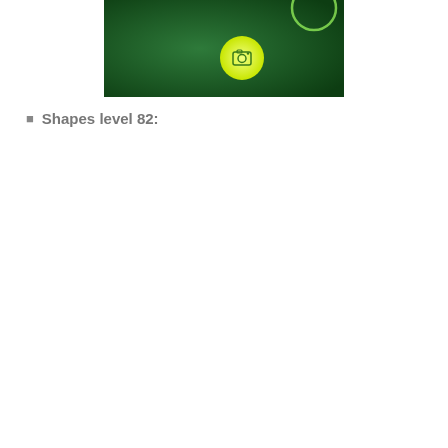[Figure (screenshot): A dark green gradient background with a glowing yellow-green circular camera icon button in the center, and a partial glowing circle outline in the upper right area.]
Shapes level 82: